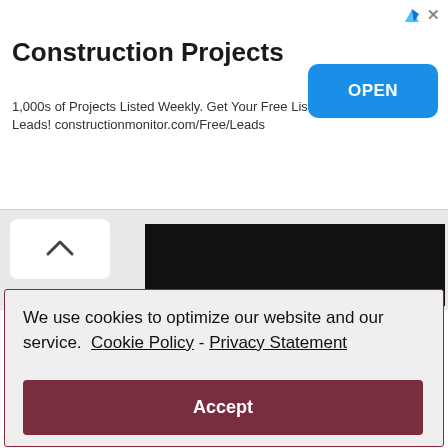Construction Projects
1,000s of Projects Listed Weekly. Get Your Free List of Sales Leads! constructionmonitor.com/Free/Leads
[Figure (screenshot): Dark image strip showing partial website content]
We use cookies to optimize our website and our service.  Cookie Policy  -  Privacy Statement
Accept